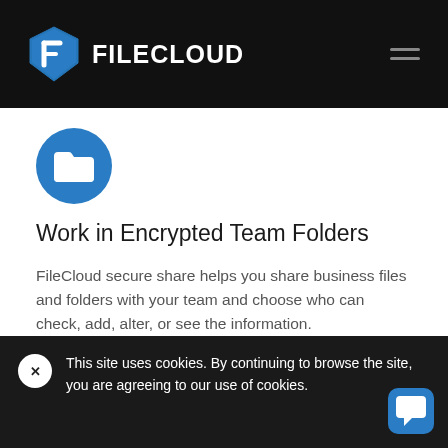FILECLOUD
[Figure (illustration): FileCloud folder icon: white folder on a blue circle]
Work in Encrypted Team Folders
FileCloud secure share helps you share business files and folders with your team and choose who can check, add, alter, or see the information.
This site uses cookies. By continuing to browse the site, you are agreeing to our use of cookies.